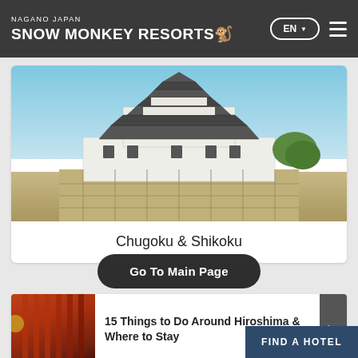NAGANO JAPAN SNOW MONKEY RESORTS
[Figure (photo): Photo of a traditional Japanese white castle (Himeji Castle) with multiple tiers, black roof details, sitting on stone walls against a blue sky with green trees]
Chugoku & Shikoku
Go To Main Page
[Figure (photo): Photo of a Japanese shrine corridor with red pillars and lanterns]
15 Things to Do Around Hiroshima & Where to Stay